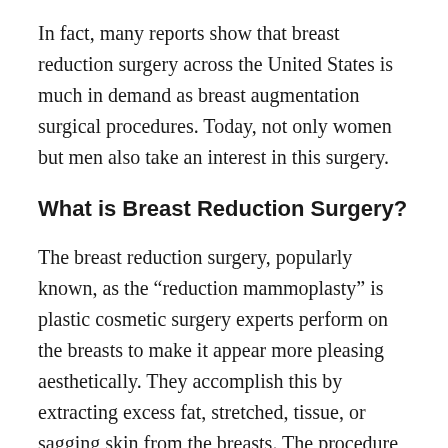In fact, many reports show that breast reduction surgery across the United States is much in demand as breast augmentation surgical procedures. Today, not only women but men also take an interest in this surgery.
What is Breast Reduction Surgery?
The breast reduction surgery, popularly known, as the “reduction mammoplasty” is plastic cosmetic surgery experts perform on the breasts to make it appear more pleasing aesthetically. They accomplish this by extracting excess fat, stretched, tissue, or sagging skin from the breasts. The procedure